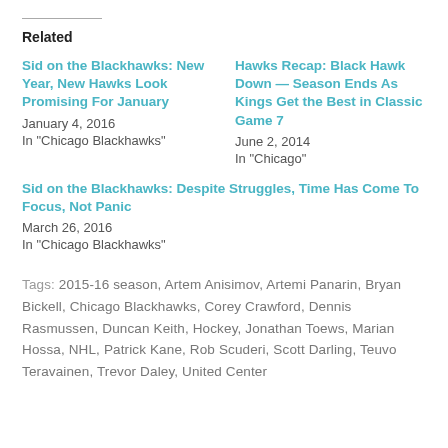Related
Sid on the Blackhawks: New Year, New Hawks Look Promising For January
January 4, 2016
In "Chicago Blackhawks"
Hawks Recap: Black Hawk Down — Season Ends As Kings Get the Best in Classic Game 7
June 2, 2014
In "Chicago"
Sid on the Blackhawks: Despite Struggles, Time Has Come To Focus, Not Panic
March 26, 2016
In "Chicago Blackhawks"
Tags: 2015-16 season, Artem Anisimov, Artemi Panarin, Bryan Bickell, Chicago Blackhawks, Corey Crawford, Dennis Rasmussen, Duncan Keith, Hockey, Jonathan Toews, Marian Hossa, NHL, Patrick Kane, Rob Scuderi, Scott Darling, Teuvo Teravainen, Trevor Daley, United Center